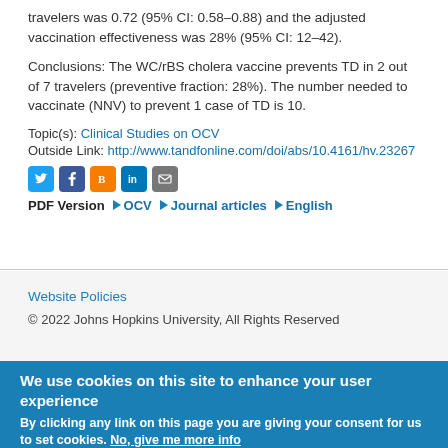travelers was 0.72 (95% CI: 0.58–0.88) and the adjusted vaccination effectiveness was 28% (95% CI: 12–42).
Conclusions: The WC/rBS cholera vaccine prevents TD in 2 out of 7 travelers (preventive fraction: 28%). The number needed to vaccinate (NNV) to prevent 1 case of TD is 10.
Topic(s): Clinical Studies on OCV
Outside Link: http://www.tandfonline.com/doi/abs/10.4161/hv.23267
[Figure (other): Social sharing icons: Twitter (blue), Facebook (dark blue), Blogger (orange), LinkedIn (blue), Email (grey)]
PDF Version   OCV   Journal articles   English
Website Policies
© 2022 Johns Hopkins University, All Rights Reserved
We use cookies on this site to enhance your user experience
By clicking any link on this page you are giving your consent for us to set cookies. No, give me more info
OK, I agree